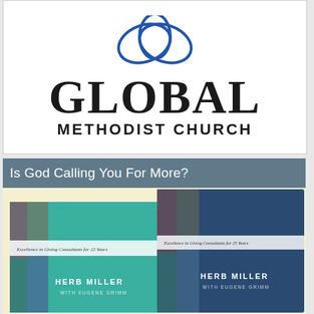[Figure (logo): Global Methodist Church logo with overlapping cross/flame symbol in blue, and text 'GLOBAL METHODIST CHURCH']
Is God Calling You For More?
[Figure (photo): Two book covers by Herb Miller with Eugene Grimm, teal/blue covers with stained glass design, titled with 'Excellence in Giving' theme, shown overlapping on a pale yellow background]